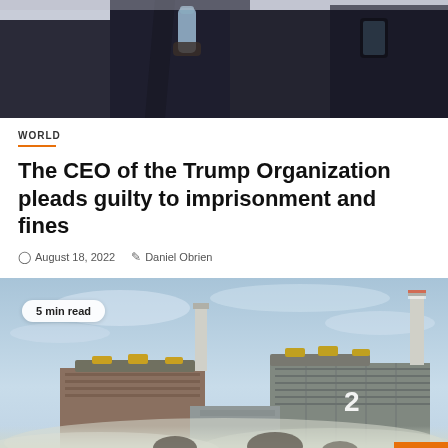[Figure (photo): Partial photo of people in dark suits, cropped at top]
WORLD
The CEO of the Trump Organization pleads guilty to imprisonment and fines
August 18, 2022   Daniel Obrien
[Figure (photo): Photo of nuclear power plant buildings with '5 min read' badge overlay, scroll-to-top orange button, blue sky and mist in foreground]